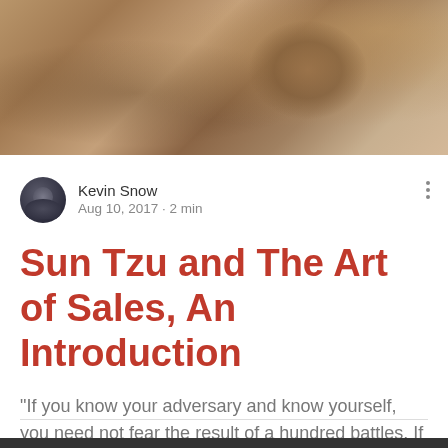[Figure (photo): Hero image showing sandy/stone textured surface with sculptural elements in warm brown tones]
Kevin Snow
Aug 10, 2017 · 2 min
Sun Tzu and The Art of Sales, An Introduction
“If you know your adversary and know yourself, you need not fear the result of a hundred battles. If you k…